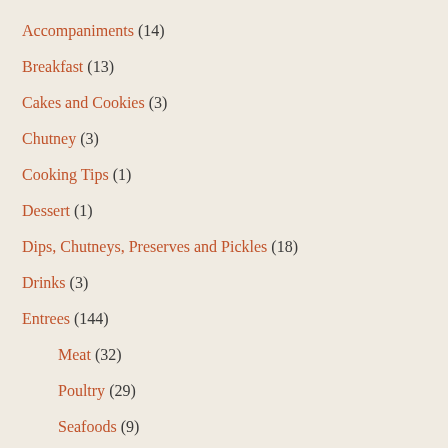Accompaniments (14)
Breakfast (13)
Cakes and Cookies (3)
Chutney (3)
Cooking Tips (1)
Dessert (1)
Dips, Chutneys, Preserves and Pickles (18)
Drinks (3)
Entrees (144)
Meat (32)
Poultry (29)
Seafoods (9)
vegetarian (44)
Glossary (2)